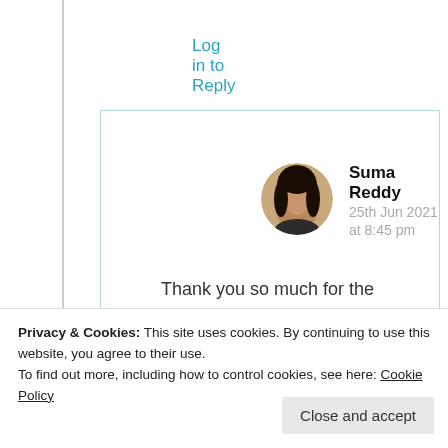Log in to Reply
[Figure (photo): Circular avatar photo of Suma Reddy, a woman with long dark hair]
Suma Reddy
25th Jun 2021 at 8:45 pm
Thank you so much for the lovely comment ❤
★ Liked by 1 person
Privacy & Cookies: This site uses cookies. By continuing to use this website, you agree to their use.
To find out more, including how to control cookies, see here: Cookie Policy
Close and accept